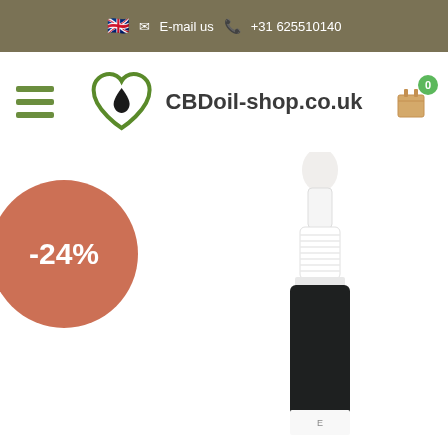🇬🇧  E-mail us  +31 625510140
[Figure (logo): CBDoil-shop.co.uk logo with green heart and oil drop icon, hamburger menu on left, shopping cart with 0 badge on right]
[Figure (photo): CBD oil dropper bottle product photo, dark glass bottle with white dropper cap, partially visible label, with -24% discount badge overlay]